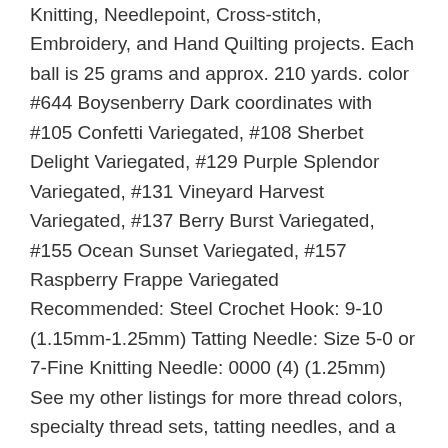Knitting, Needlepoint, Cross-stitch, Embroidery, and Hand Quilting projects. Each ball is 25 grams and approx. 210 yards. color #644 Boysenberry Dark coordinates with #105 Confetti Variegated, #108 Sherbet Delight Variegated, #129 Purple Splendor Variegated, #131 Vineyard Harvest Variegated, #137 Berry Burst Variegated, #155 Ocean Sunset Variegated, #157 Raspberry Frappe Variegated Recommended: Steel Crochet Hook: 9-10 (1.15mm-1.25mm) Tatting Needle: Size 5-0 or 7-Fine Knitting Needle: 0000 (4) (1.25mm) See my other listings for more thread colors, specialty thread sets, tatting needles, and a step by step guide to beginning needle tatting. I hope you'll fall in love with the absolutely beautiful art of hand made lace making! Please message me if you're looking for a particular color, size, or type of thread or if you have a tatting book or notion you'd like to purchase. I am making purchases for my shop all the time and will be happy to look for a source for what you